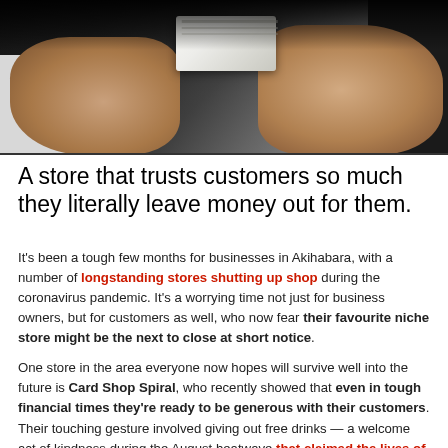[Figure (photo): Close-up photo of two hands holding/exchanging money (folded banknotes), person wearing a white shirt, dark background]
A store that trusts customers so much they literally leave money out for them.
It's been a tough few months for businesses in Akihabara, with a number of longstanding stores shutting up shop during the coronavirus pandemic. It's a worrying time not just for business owners, but for customers as well, who now fear their favourite niche store might be the next to close at short notice.

One store in the area everyone now hopes will survive well into the future is Card Shop Spiral, who recently showed that even in tough financial times they're ready to be generous with their customers. Their touching gesture involved giving out free drinks — a welcome act of kindness during the August heatwave that claimed the lives of 79 people in Tokyo over the space of just three weeks — but it's the trusting way